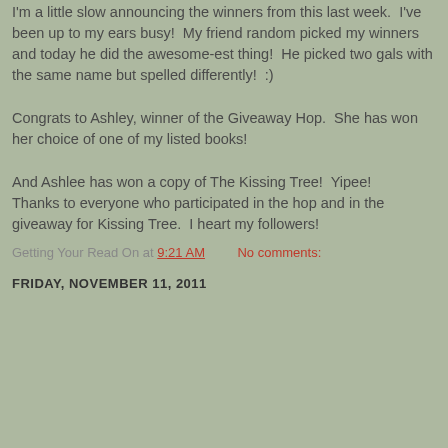I'm a little slow announcing the winners from this last week.  I've been up to my ears busy!  My friend random picked my winners and today he did the awesome-est thing!  He picked two gals with the same name but spelled differently!  :)
Congrats to Ashley, winner of the Giveaway Hop.  She has won her choice of one of my listed books!
And Ashlee has won a copy of The Kissing Tree!  Yipee!
Thanks to everyone who participated in the hop and in the giveaway for Kissing Tree.  I heart my followers!
Getting Your Read On at 9:21 AM    No comments:
FRIDAY, NOVEMBER 11, 2011